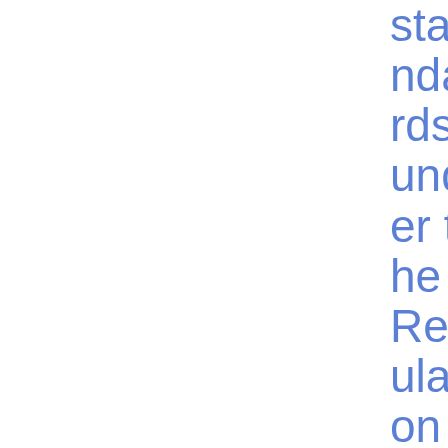standards under the Regulation (EU) No 648/2012 of the European Parliament and of the Cou